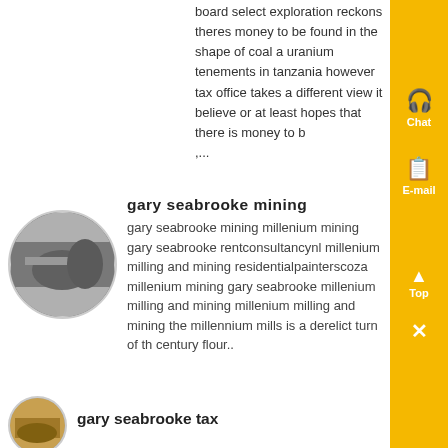board select exploration reckons theres money to be found in the shape of coal a uranium tenements in tanzania however tax office takes a different view it believe or at least hopes that there is money to b
,...
gary seabrooke mining
[Figure (photo): Oval-cropped photo showing industrial/mining machinery interior]
gary seabrooke mining millenium mining gary seabrooke rentconsultancynl millenium milling and mining residentialpainterscoza millenium mining gary seabrooke millenium milling and mining millenium milling and mining the millennium mills is a derelict turn of th century flour..
gary seabrooke tax
[Figure (photo): Oval-cropped photo partially visible at bottom of page]